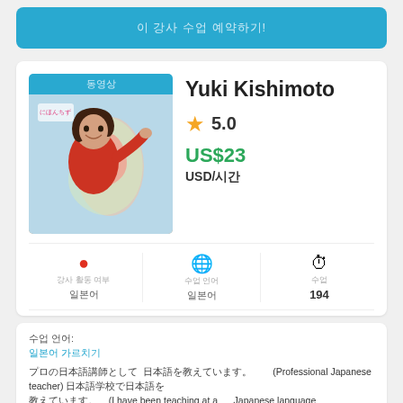이 강사 수업 예약하기!
[Figure (photo): Profile photo of Yuki Kishimoto, a Japanese language tutor, wearing red, with a Japanese map in background. Blue label at top.]
Yuki Kishimoto
★ 5.0
US$23
USD/시간
● 강사 활동 여부 일본어
🌐 수업 언어 일본어
⏱ 수업 194
수업 언어:
일본어 가르치기
プロの日本語講師として　日本語を教えています。 (Professional Japanese teacher) 日本語学校で日本語を教えています。 (I have been teaching at a Japanese language